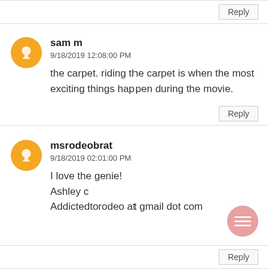Reply
sam m
9/18/2019 12:08:00 PM
the carpet. riding the carpet is when the most exciting things happen during the movie.
Reply
msrodeobrat
9/18/2019 02:01:00 PM
I love the genie!
Ashley c
Addictedtorodeo at gmail dot com
Reply